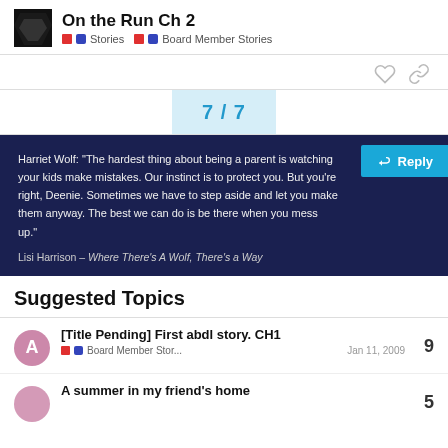On the Run Ch 2 — Stories / Board Member Stories
Harriet Wolf: "The hardest thing about being a parent is watching your kids make mistakes. Our instinct is to protect you. But you're right, Deenie. Sometimes we have to step aside and let you make them anyway. The best we can do is be there when you mess up."

Lisi Harrison – Where There's A Wolf, There's a Way
Suggested Topics
[Title Pending] First abdl story. CH1
Board Member Stor... Jan 11, 2009
A summer in my friend's home